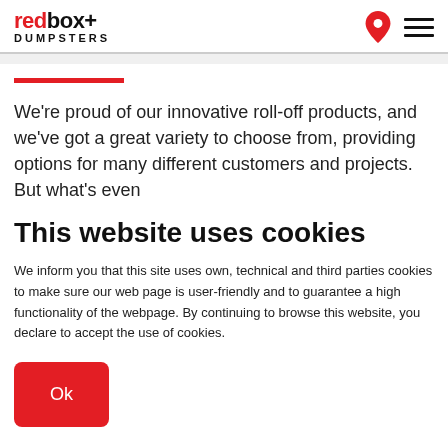redbox+ DUMPSTERS
We're proud of our innovative roll-off products, and we've got a great variety to choose from, providing options for many different customers and projects. But what's even
This website uses cookies
We inform you that this site uses own, technical and third parties cookies to make sure our web page is user-friendly and to guarantee a high functionality of the webpage. By continuing to browse this website, you declare to accept the use of cookies.
Ok